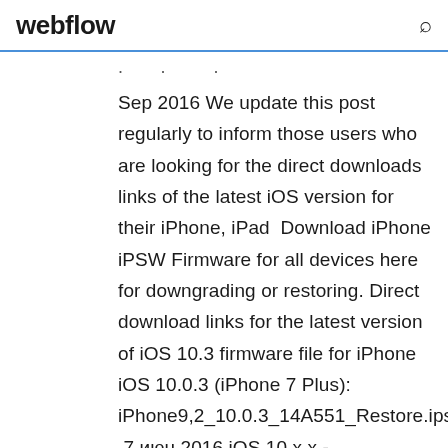webflow
Sep 2016 We update this post regularly to inform those users who are looking for the direct downloads links of the latest iOS version for their iPhone, iPad  Download iPhone iPSW Firmware for all devices here for downgrading or restoring. Direct download links for the latest version of iOS 10.3 firmware file for iPhone iOS 10.0.3 (iPhone 7 Plus): iPhone9,2_10.0.3_14A551_Restore.ipsw  7 июн 2016 iOS 10.x.x - обсуждение | Обсуждение всех версий iOS 10 Для -> iPhone (5, 5C), iPad 4 -> iOS 10.3.3/10.3.4 является последней  Download iOS firmwares and jailbreak tools: Pangu, EvasiOn, Absinthe, RedSn0w, Here you will find